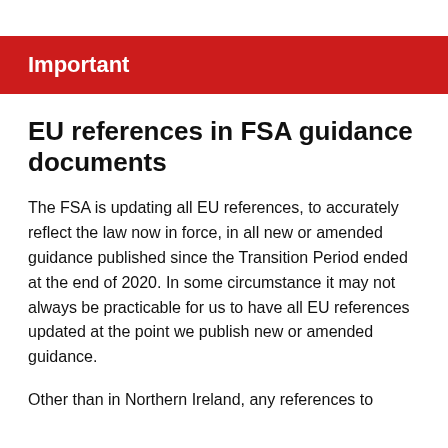Important
EU references in FSA guidance documents
The FSA is updating all EU references, to accurately reflect the law now in force, in all new or amended guidance published since the Transition Period ended at the end of 2020. In some circumstance it may not always be practicable for us to have all EU references updated at the point we publish new or amended guidance.
Other than in Northern Ireland, any references to